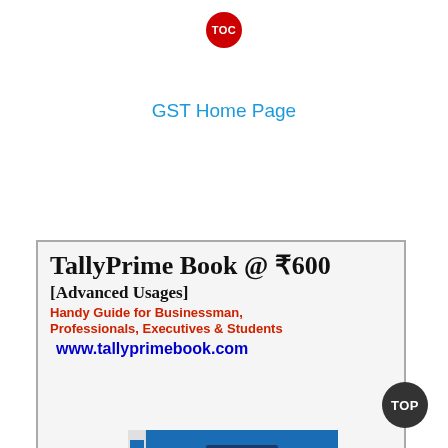[Figure (logo): Red circular TOC button at top center]
GST Home Page
[Figure (illustration): Advertisement for TallyPrime Book at ₹600 [Advanced Usages], Handy Guide for Businessman, Professionals, Executives & Students, www.tallyprimebook.com, with book cover image showing Tally Prime Book (Advanced Usage) by Sanjay Satpathy at ₹600]
[Figure (logo): Dark circular TOP button at bottom right]